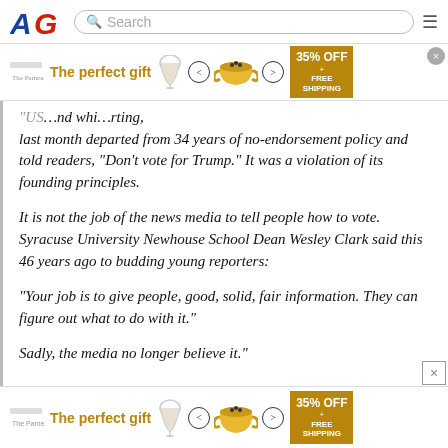AG navigation bar with logo, search, and menu
[Figure (screenshot): Advertisement banner: 'The perfect gift' with 35% OFF + FREE SHIPPING]
last month departed from 34 years of no-endorsement policy and told readers, “Don’t vote for Trump.” It was a violation of its founding principles.
It is not the job of the news media to tell people how to vote. Syracuse University Newhouse School Dean Wesley Clark said this 46 years ago to budding young reporters:
“Your job is to give people, good, solid, fair information. They can figure out what to do with it.”
Sadly, the media no longer believe it.”
[Figure (screenshot): Bottom advertisement banner: 'The perfect gift' with 35% OFF + FREE SHIPPING]